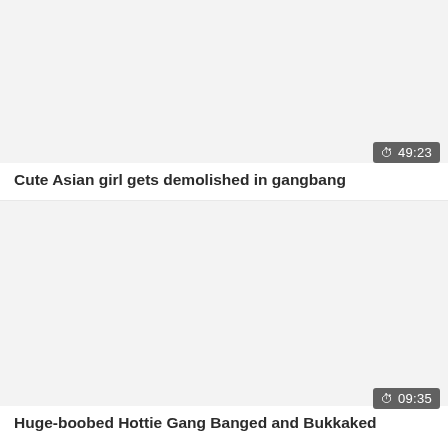[Figure (screenshot): Video thumbnail placeholder — light gray background for first video card]
49:23
Cute Asian girl gets demolished in gangbang
[Figure (screenshot): Video thumbnail placeholder — light gray background for second video card]
09:35
Huge-boobed Hottie Gang Banged and Bukkaked